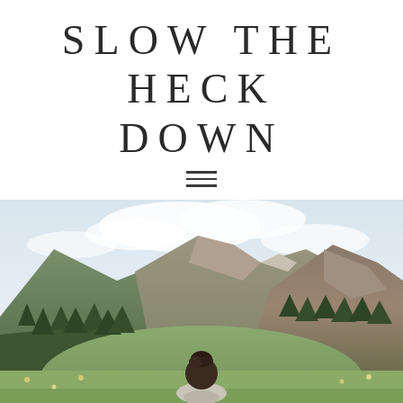SLOW THE HECK DOWN
[Figure (photo): A person with dark hair in an updo, seen from behind, standing in a green mountain valley with forested slopes and rocky peaks under a partly cloudy sky]